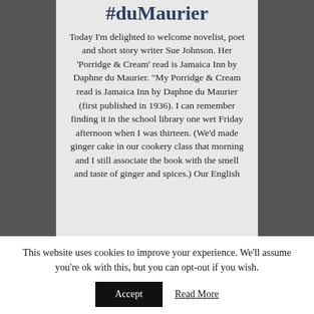#duMaurier
Today I'm delighted to welcome novelist, poet and short story writer Sue Johnson. Her 'Porridge & Cream' read is Jamaica Inn by Daphne du Maurier. "My Porridge & Cream read is Jamaica Inn by Daphne du Maurier (first published in 1936). I can remember finding it in the school library one wet Friday afternoon when I was thirteen. (We'd made ginger cake in our cookery class that morning and I still associate the book with the smell and taste of ginger and spices.) Our English
This website uses cookies to improve your experience. We'll assume you're ok with this, but you can opt-out if you wish.
Accept   Read More